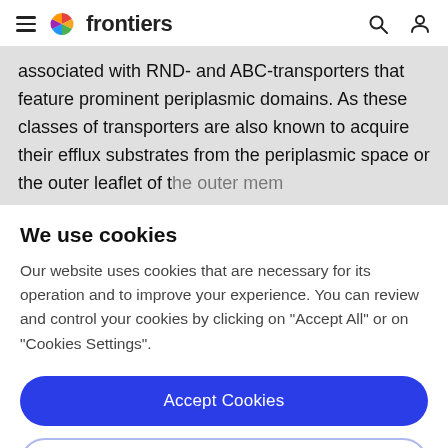frontiers
associated with RND- and ABC-transporters that feature prominent periplasmic domains. As these classes of transporters are also known to acquire their efflux substrates from the periplasmic space or the outer leaflet of the outer membrane, one can assume that the role
We use cookies
Our website uses cookies that are necessary for its operation and to improve your experience. You can review and control your cookies by clicking on "Accept All" or on "Cookies Settings".
Accept Cookies
Cookies Settings